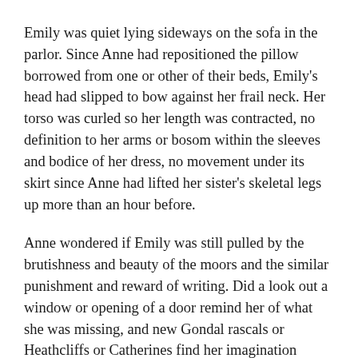Emily was quiet lying sideways on the sofa in the parlor. Since Anne had repositioned the pillow borrowed from one or other of their beds, Emily's head had slipped to bow against her frail neck. Her torso was curled so her length was contracted, no definition to her arms or bosom within the sleeves and bodice of her dress, no movement under its skirt since Anne had lifted her sister's skeletal legs up more than an hour before.
Anne wondered if Emily was still pulled by the brutishness and beauty of the moors and the similar punishment and reward of writing. Did a look out a window or opening of a door remind her of what she was missing, and new Gondal rascals or Heathcliffs or Catherines find her imagination receptive? Anne longed for one more conversation with her, whether playful or intense, one more chance to agree, argue and confirm they were good for each other's inspiration, intellects and souls. Anne ached for one more meeting with the Emily who was wiry but robust, strong like a man and simple like a child, her head full of logic and fantastic stories at the same time, her choices uncompromising